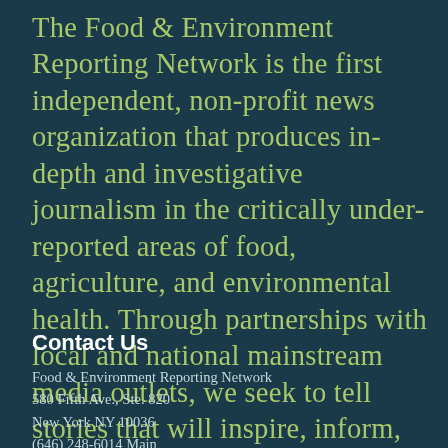The Food & Environment Reporting Network is the first independent, non-profit news organization that produces in-depth and investigative journalism in the critically under-reported areas of food, agriculture, and environmental health. Through partnerships with local and national mainstream media outlets, we seek to tell stories that will inspire, inform, and have lasting impact.
Contact Us
Food & Environment Reporting Network
580 Fifth Ave., Ste. 820
New York NY 10036
(646) 248-6014 Main